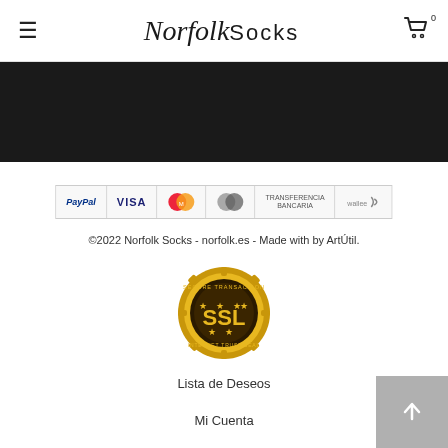Norfolk Socks
[Figure (other): Dark banner/hero image area, black background]
[Figure (other): Payment methods row: PayPal, VISA, Maestro, Mastercard, Transferencia Bancaria, Wallee]
©2022 Norfolk Socks - norfolk.es - Made with by ArtÚtil.
[Figure (other): SSL secure transaction trust badge, gold medal with SSL text]
Lista de Deseos
Mi Cuenta
Sigue tu Pedido